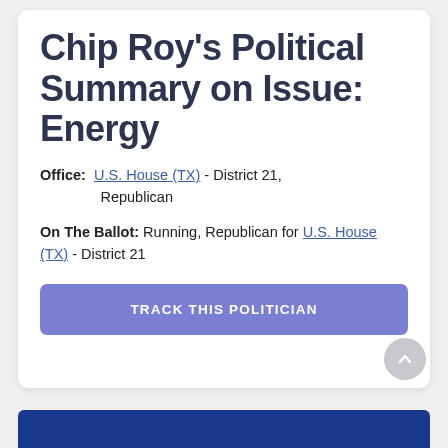Chip Roy's Political Summary on Issue: Energy
Office: U.S. House (TX) - District 21, Republican
On The Ballot: Running, Republican for U.S. House (TX) - District 21
TRACK THIS POLITICIAN